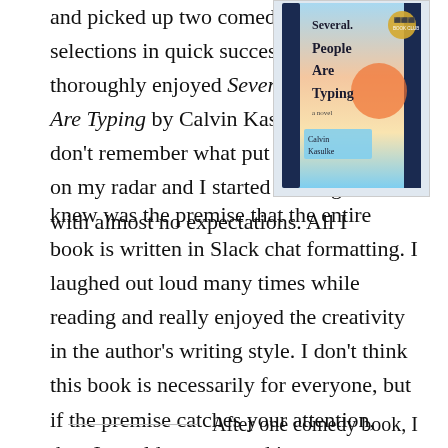and picked up two comedy selections in quick succession. I thoroughly enjoyed Several People Are Typing by Calvin Kasulke. I don't remember what put this book on my radar and I started reading with almost no expectations. All I knew was the premise that the entire book is written in Slack chat formatting. I laughed out loud many times while reading and really enjoyed the creativity in the author's writing style. I don't think this book is necessarily for everyone, but if the premise catches your attention, then I would recommend it.
[Figure (photo): Book cover of 'Several People Are Typing' by Calvin Kasulke, showing a colorful gradient cover with phone/chat UI imagery]
After one comedy book, I